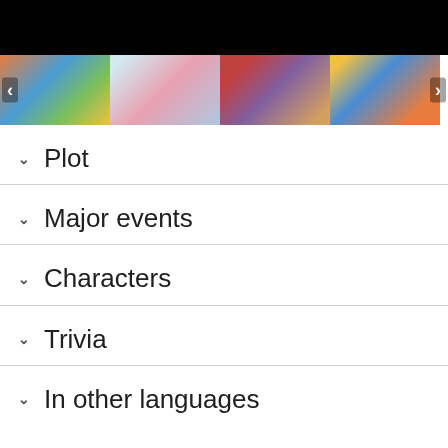[Figure (screenshot): Black video player bar at the top]
[Figure (screenshot): Row of four thumbnail images from Pokemon anime episodes, with left and right navigation arrows]
Plot
Major events
Characters
Trivia
In other languages